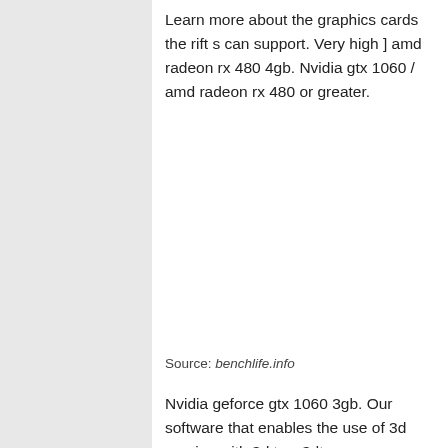Learn more about the graphics cards the rift s can support. Very high ] amd radeon rx 480 4gb. Nvidia gtx 1060 / amd radeon rx 480 or greater.
Source: benchlife.info
Nvidia geforce gtx 1060 3gb. Our software that enables the use of 3d gaming with 3d tvs, 3dtv...